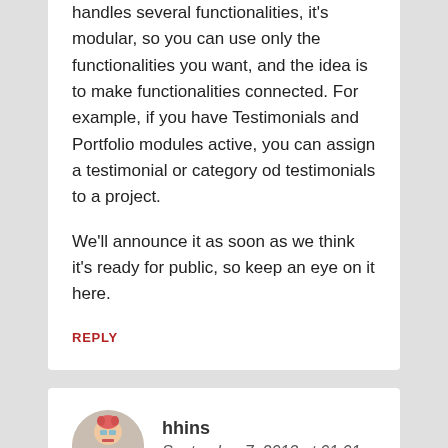handles several functionalities, it's modular, so you can use only the functionalities you want, and the idea is to make functionalities connected. For example, if you have Testimonials and Portfolio modules active, you can assign a testimonial or category od testimonials to a project.
We'll announce it as soon as we think it's ready for public, so keep an eye on it here.
REPLY
hhins
September 7, 2013 at 01:01
Great post!